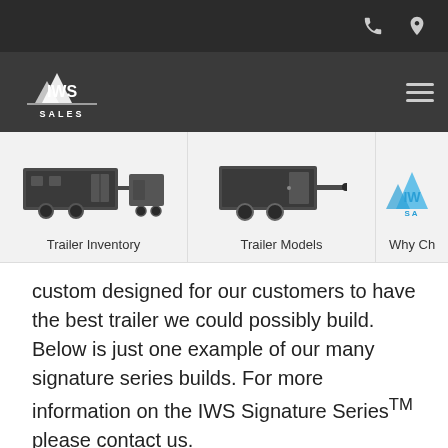IWS Sales website header with phone and location icons
[Figure (logo): IWS Sales logo - mountain peaks with IWS SALES text, white on dark background]
[Figure (illustration): Navigation category: Trailer Inventory - dark silhouette of enclosed trailers]
[Figure (illustration): Navigation category: Trailer Models - dark silhouette of single enclosed trailer]
[Figure (logo): Navigation category: Why Choose IWS - partial IWS Sales logo in blue]
custom designed for our customers to have the best trailer we could possibly build. Below is just one example of our many signature series builds. For more information on the IWS Signature Series™ please contact us.
[Figure (photo): Gray placeholder image at the bottom of the page, partially visible]